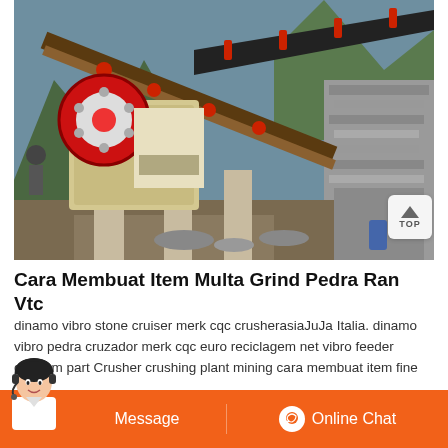[Figure (photo): Outdoor mining/crushing plant machinery — jaw crusher with red flywheel, steel frame structure, conveyor belt, mountainous rocky terrain and quarry wall in background]
Cara Membuat Item Multa Grind Pedra Ran Vtc
dinamo vibro stone cruiser merk cqc crusherasiaJuJa Italia. dinamo vibro pedra cruzador merk cqc euro reciclagem net vibro feeder diagram part Crusher crushing plant mining cara membuat item fine
Pederiea ...